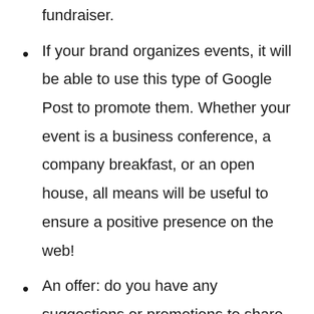fundraiser.
If your brand organizes events, it will be able to use this type of Google Post to promote them. Whether your event is a business conference, a company breakfast, or an open house, all means will be useful to ensure a positive presence on the web!
An offer: do you have any suggestions or promotions to share on Google? You can promote them through these types of posts and thus arouse your